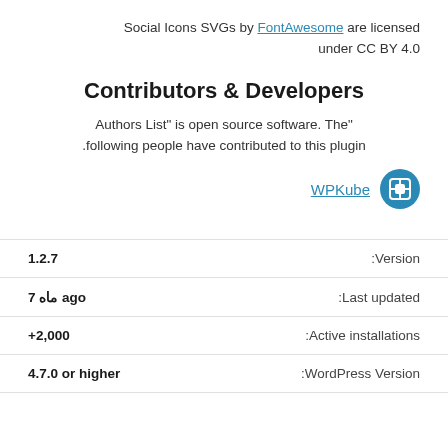Social Icons SVGs by FontAwesome are licensed under CC BY 4.0
Contributors & Developers
"Authors List" is open source software. The following people have contributed to this plugin.
WPKube
| Value | Label |
| --- | --- |
| 1.2.7 | Version: |
| 7 ماه ago | Last updated: |
| +2,000 | Active installations: |
| 4.7.0 or higher | WordPress Version: |